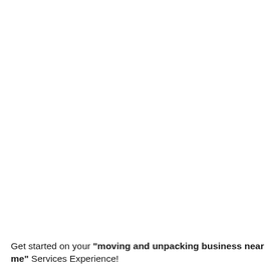Get started on your "moving and unpacking business near me" Services Experience!